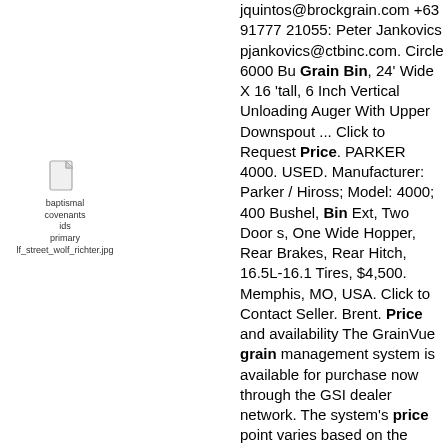[Figure (illustration): File/document icon with labels: baptismal covenants ids primary, and filename lf_street_wolf_richter.jpg]
jquintos@brockgrain.com +63 91777 21055: Peter Jankovics pjankovics@ctbinc.com. Circle 6000 Bu Grain Bin, 24' Wide X 16 'tall, 6 Inch Vertical Unloading Auger With Upper Downspout ... Click to Request Price. PARKER 4000. USED. Manufacturer: Parker / Hiross; Model: 4000; 400 Bushel, Bin Ext, Two Door s, One Wide Hopper, Rear Brakes, Rear Hitch, 16.5L-16.1 Tires, $4,500. Memphis, MO, USA. Click to Contact Seller. Brent. Price and availability The GrainVue grain management system is available for purchase now through the GSI dealer network. The system's price point varies based on the diameter and height of the grain bin , and has an annual subscription fee of $200 per bin. BROCK Grain Bins Auction Results. Sort by manufacturer, model, year, price, location, sale date, and more. ... Buyer's premium included in price